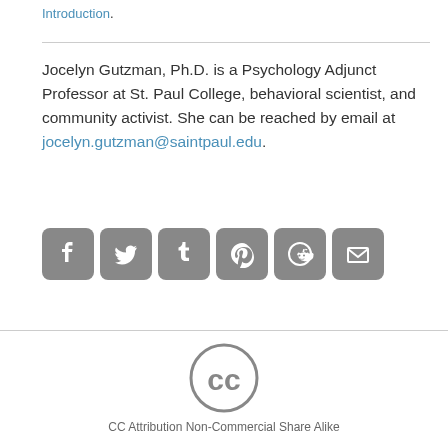Introduction.
Jocelyn Gutzman, Ph.D. is a Psychology Adjunct Professor at St. Paul College, behavioral scientist, and community activist. She can be reached by email at jocelyn.gutzman@saintpaul.edu.
[Figure (infographic): Six social media sharing icons in rounded square buttons (gray): Facebook, Twitter, Tumblr, Pinterest, Reddit, Email]
[Figure (logo): Creative Commons CC circle logo]
CC Attribution Non-Commercial Share Alike